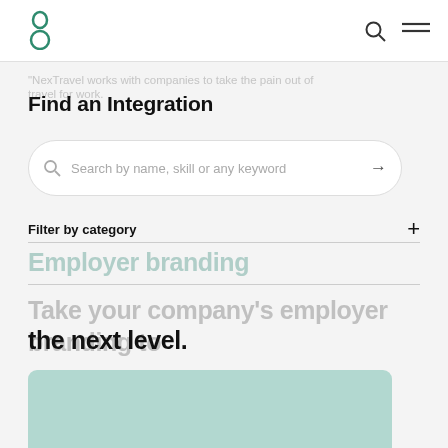[Figure (logo): Green figure-8 / person logo mark]
[Figure (other): Search icon and hamburger menu in top nav]
NexTravel works with companies to take the pain out of
travel for work.
Find an Integration
Search by name, skill or any keyword
Filter by category
Employer branding
Take your company's employer branding to the next level.
[Figure (other): Teal/mint colored card placeholder at bottom]